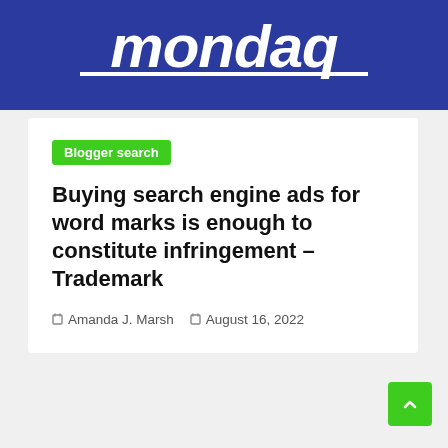[Figure (logo): Mondaq logo — white italic bold text on dark blue background with white underline]
Blogger search
Buying search engine ads for word marks is enough to constitute infringement – Trademark
Amanda J. Marsh   August 16, 2022